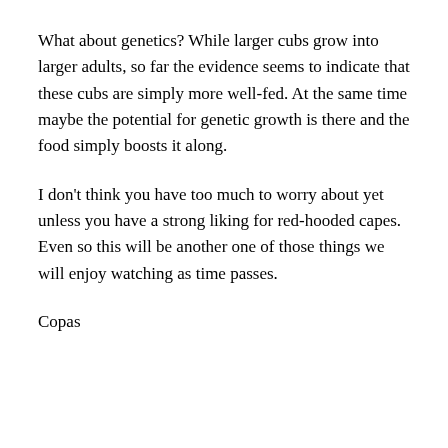What about genetics? While larger cubs grow into larger adults, so far the evidence seems to indicate that these cubs are simply more well-fed. At the same time maybe the potential for genetic growth is there and the food simply boosts it along.
I don't think you have too much to worry about yet unless you have a strong liking for red-hooded capes. Even so this will be another one of those things we will enjoy watching as time passes.
Copas